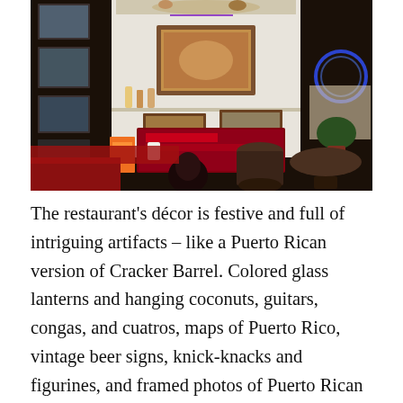[Figure (photo): Interior photograph of a Puerto Rican restaurant showing a display cabinet filled with figurines, framed paintings, and small photographs on the wall. A Budweiser Marc Anthony banner is visible in the foreground along with a drum (conga), round table, red chairs, and decorative artifacts throughout.]
The restaurant's décor is festive and full of intriguing artifacts – like a Puerto Rican version of Cracker Barrel. Colored glass lanterns and hanging coconuts, guitars, congas, and cuatros, maps of Puerto Rico, vintage beer signs, knick-knacks and figurines, and framed photos of Puerto Rican baseball players. Like